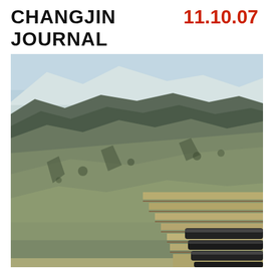CHANGJIN JOURNAL 11.10.07
[Figure (photo): Aerial or elevated view of snow-capped Korean mountains with terraced hillside fields in the foreground. The landscape shows rugged terrain with sparse vegetation and snow on the upper peaks. In the lower right corner, dark cylindrical pipes or tubes are visible. The terrain appears to be near the Changjin (Chosin) Reservoir area in North Korea.]
On 27 November when the 2/5 Marines launched their attack west fro... Toktong Pass was still open with most of the big b transport vehicles...